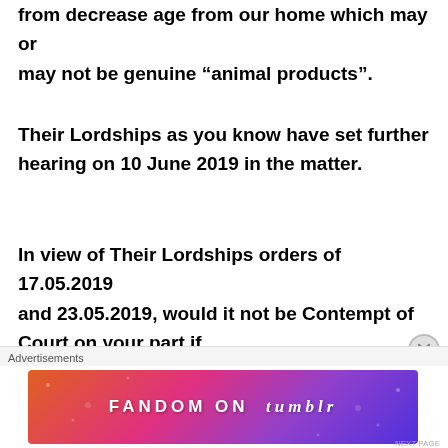from decrease age from our home which may or may not be genuine “animal products”.
Their Lordships as you know have set further hearing on 10 June 2019 in the matter.
In view of Their Lordships orders of 17.05.2019 and 23.05.2019, would it not be Contempt of Court on your part if
[Figure (infographic): Fandom on Tumblr advertisement banner with colorful gradient background (orange, pink, purple)]
Advertisements